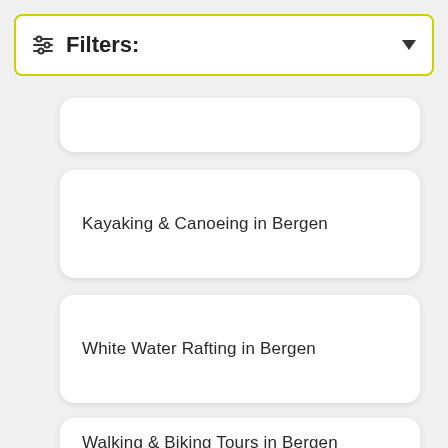Filters:
Kayaking & Canoeing in Bergen
White Water Rafting in Bergen
Walking & Biking Tours in Bergen
Bike & Mountain Bike Tours in Bergen
Food & Wine Tours in Bergen